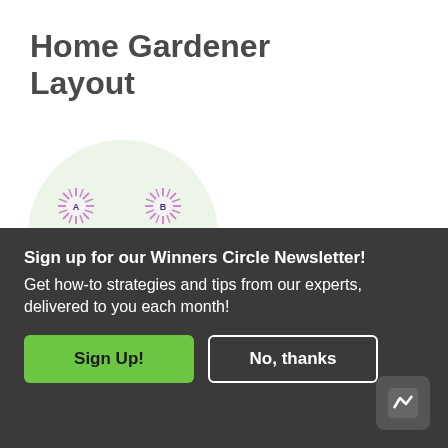Home Gardener Layout
[Figure (illustration): Garden layout diagram showing a large light-green circle with two pink aster-like flower icons labeled A and B in the upper portion, and one larger green flower icon labeled A in the lower portion of the circle.]
Professional
Sign up for our Winners Circle Newsletter! Get how-to strategies and tips from our experts, delivered to you each month!
Sign Up!   No, thanks